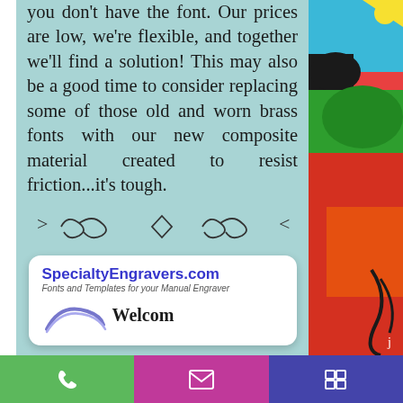you don't have the font. Our prices are low, we're flexible, and together we'll find a solution! This may also be a good time to consider replacing some of those old and worn brass fonts with our new composite material created to resist friction...it's tough.
[Figure (illustration): Decorative swirl/flourish divider with angle brackets and a diamond shape]
[Figure (screenshot): SpecialtyEngravers.com website card showing logo, tagline 'Fonts and Templates for your Manual Engraver', swoosh graphic, and 'Welcom' text]
[Figure (illustration): Right side colorful abstract splatter art painting]
[Figure (infographic): Bottom toolbar with three buttons: green phone icon, magenta email icon, purple menu/list icon]